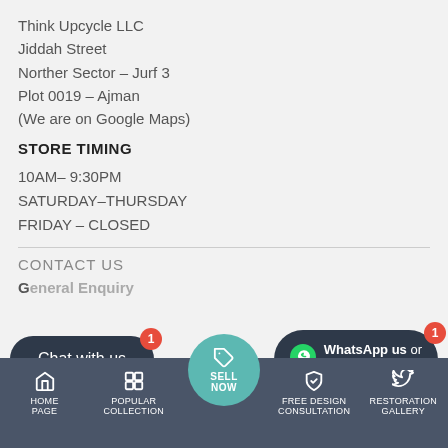Think Upcycle LLC
Jiddah Street
Norther Sector - Jurf 3
Plot 0019 - Ajman
(We are on Google Maps)
STORE TIMING
10AM- 9:30PM
SATURDAY-THURSDAY
FRIDAY - CLOSED
CONTACT US
General Enquiry
[Figure (other): Chat with us button (dark rounded) with red badge '1', and WhatsApp us / call 04 204 9292 button (dark rounded) with green WhatsApp icon and red badge '1']
[Figure (other): Bottom navigation bar with Home Page, Popular Collection, Sell Now (teal circle center), Free Design Consultation, Restoration Gallery icons and labels]